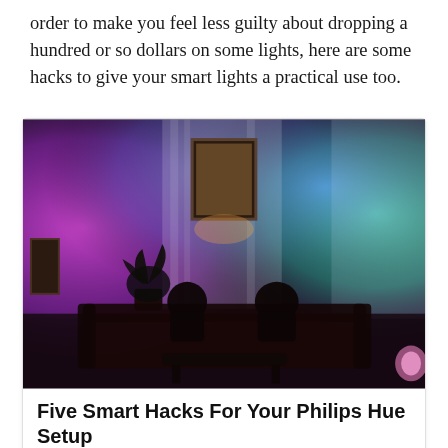order to make you feel less guilty about dropping a hundred or so dollars on some lights, here are some hacks to give your smart lights a practical use too.
[Figure (photo): A living room scene with Philips Hue smart lights illuminating the walls in vivid colors — purple/magenta on the left, blue in the center, and teal/green on the right — with curtains, a plant, a sofa, and a coffee table visible in the dark room.]
Five Smart Hacks For Your Philips Hue Setup
In the aftermath of Amazon Prime Day deals, one of the weirder insights we gathered from Lifehacker readers was that aside from your affinity for Coca Cola